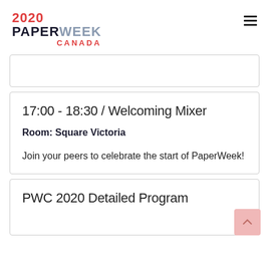2020 PAPERWEEK CANADA
17:00 - 18:30 / Welcoming Mixer
Room: Square Victoria
Join your peers to celebrate the start of PaperWeek!
PWC 2020 Detailed Program